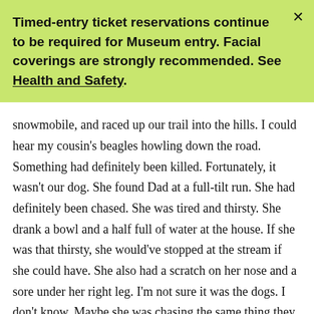Timed-entry ticket reservations continue to be required for Museum entry. Facial coverings are strongly recommended. See Health and Safety.
snowmobile, and raced up our trail into the hills. I could hear my cousin's beagles howling down the road. Something had definitely been killed. Fortunately, it wasn't our dog. She found Dad at a full-tilt run. She had definitely been chased. She was tired and thirsty. She drank a bowl and a half full of water at the house. If she was that thirsty, she would've stopped at the stream if she could have. She also had a scratch on her nose and a sore under her right leg. I'm not sure it was the dogs. I don't know. Maybe she was chasing the same thing they were. We never found what they killed. That